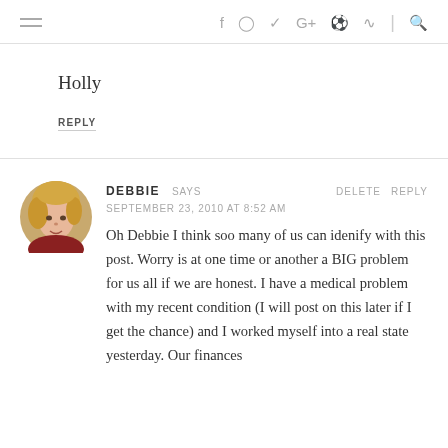≡  f  Instagram  Twitter  G+  Pinterest  RSS  |  Search
Holly
REPLY
DEBBIE SAYS
SEPTEMBER 23, 2010 AT 8:52 AM
Oh Debbie I think soo many of us can idenify with this post. Worry is at one time or another a BIG problem for us all if we are honest. I have a medical problem with my recent condition (I will post on this later if I get the chance) and I worked myself into a real state yesterday. Our finances